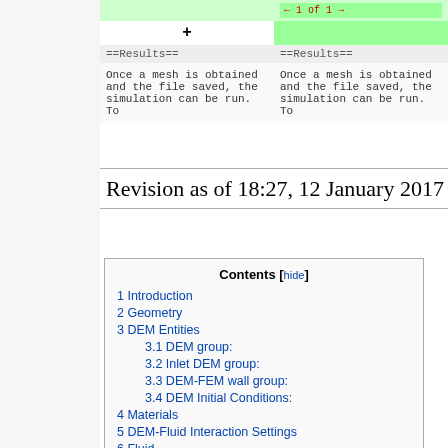[Figure (other): Wikipedia-style diff view showing two columns comparing ==Results== section text: 'Once a mesh is obtained and the file saved, the simulation can be run. To' with a green addition row and navigation arrows]
Revision as of 18:27, 12 January 2017
| Contents [hide] |
| --- |
| 1 Introduction |
| 2 Geometry |
| 3 DEM Entities |
| 3.1 DEM group: |
| 3.2 Inlet DEM group: |
| 3.3 DEM-FEM wall group: |
| 3.4 DEM Initial Conditions: |
| 4 Materials |
| 5 DEM-Fluid Interaction Settings |
| 6 Fluid |
| 6.1 Properties |